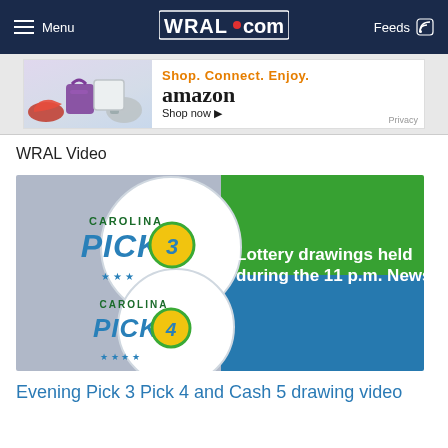Menu | WRAL.com | Feeds
[Figure (photo): Amazon advertisement banner: Shop. Connect. Enjoy. amazon Shop now. With product images of shoes, bags, gaming controller.]
WRAL Video
[Figure (photo): Carolina Pick 3 and Pick 4 lottery logo image with text: Lottery drawings held during the 11 p.m. News]
Evening Pick 3 Pick 4 and Cash 5 drawing video